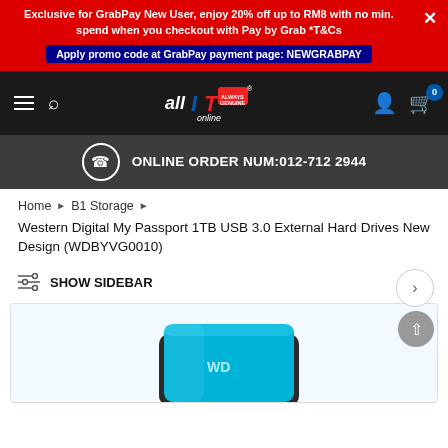Exclusive for GrabPay New User, enjoy 20% off up to RM8 with no min. spend when you checkout with Pay by Grab *T&Cs
Apply promo code at GrabPay payment page: NEWGRABPAY
[Figure (logo): allIT online logo on black navbar with hamburger menu, search icon, user icon, and cart icon with badge 0]
ONLINE ORDER NUM:012-712 2944
Home › B1 Storage ›
Western Digital My Passport 1TB USB 3.0 External Hard Drives New Design (WDBYVG0010)
SHOW SIDEBAR
[Figure (photo): Western Digital My Passport 1TB external hard drive in blue color, partially shown at bottom of page]